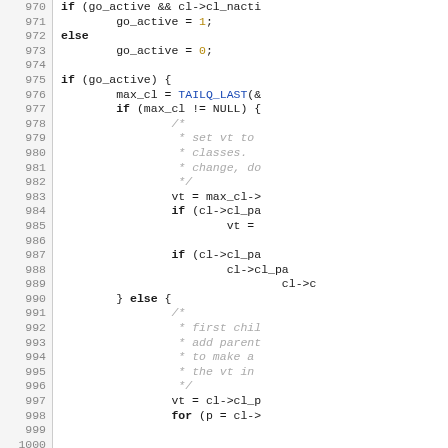[Figure (screenshot): Source code listing (C language) with line numbers 970-999+. Shows control flow with if/else blocks, go_active variable assignments, TAILQ_LAST macro call, pointer operations, and comments about setting vt and first child handling.]